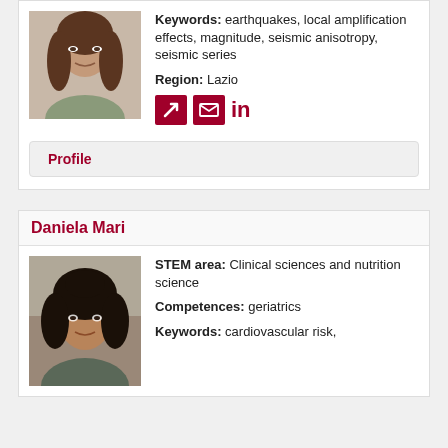Keywords: earthquakes, local amplification effects, magnitude, seismic anisotropy, seismic series
Region: Lazio
[Figure (other): Three social/contact icons: red arrow-link icon, red envelope icon, LinkedIn 'in' logo in dark red]
Profile
Daniela Mari
[Figure (photo): Photo of Daniela Mari, a woman with dark curly hair]
STEM area: Clinical sciences and nutrition science
Competences: geriatrics
Keywords: cardiovascular risk,